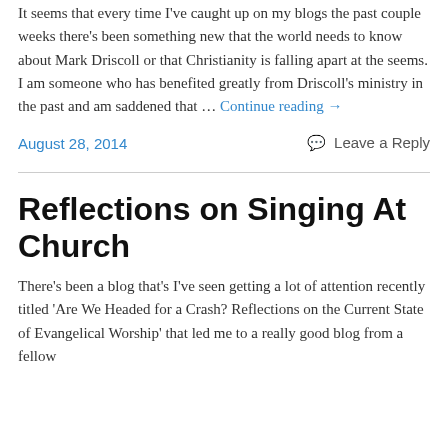It seems that every time I've caught up on my blogs the past couple weeks there's been something new that the world needs to know about Mark Driscoll or that Christianity is falling apart at the seems. I am someone who has benefited greatly from Driscoll's ministry in the past and am saddened that … Continue reading →
August 28, 2014    Leave a Reply
Reflections on Singing At Church
There's been a blog that's I've seen getting a lot of attention recently titled 'Are We Headed for a Crash? Reflections on the Current State of Evangelical Worship' that led me to a really good blog from a fellow